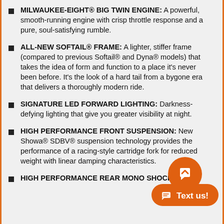MILWAUKEE-EIGHT® BIG TWIN ENGINE: A powerful, smooth-running engine with crisp throttle response and a pure, soul-satisfying rumble.
ALL-NEW SOFTAIL® FRAME: A lighter, stiffer frame (compared to previous Softail® and Dyna® models) that takes the idea of form and function to a place it's never been before. It's the look of a hard tail from a bygone era that delivers a thoroughly modern ride.
SIGNATURE LED FORWARD LIGHTING: Darkness-defying lighting that give you greater visibility at night.
HIGH PERFORMANCE FRONT SUSPENSION: New Showa® SDBV® suspension technology provides the performance of a racing-style cartridge fork for reduced weight with linear damping characteristics.
HIGH PERFORMANCE REAR MONO SHOCK: All-